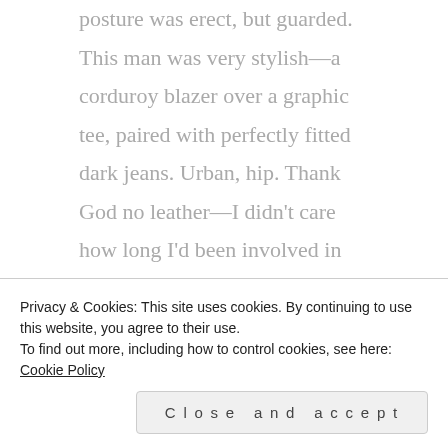posture was erect, but guarded. This man was very stylish—a corduroy blazer over a graphic tee, paired with perfectly fitted dark jeans. Urban, hip. Thank God no leather—I didn't care how long I'd been involved in this sort of thing, I would never get into leather. Unless it was required for a scene...then it would be acceptable. He folded his hands neatly in his lap, and began the conversation in a surprisingly self-
Privacy & Cookies: This site uses cookies. By continuing to use this website, you agree to their use.
To find out more, including how to control cookies, see here: Cookie Policy
Close and accept